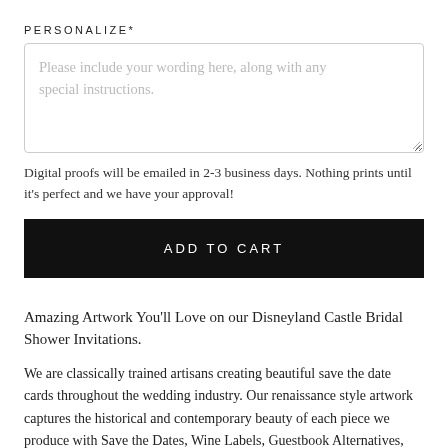PERSONALIZE*
Please include your wording here, along with any special instructions.
Digital proofs will be emailed in 2-3 business days. Nothing prints until it's perfect and we have your approval!
ADD TO CART
Amazing Artwork You'll Love on our Disneyland Castle Bridal Shower Invitations.
We are classically trained artisans creating beautiful save the date cards throughout the wedding industry. Our renaissance style artwork captures the historical and contemporary beauty of each piece we produce with Save the Dates, Wine Labels, Guestbook Alternatives, Rehearsal Dinner Invites, Place Cards, Menu Cards, Table Numbers, Wedding Programs and elegant, classic Wedding